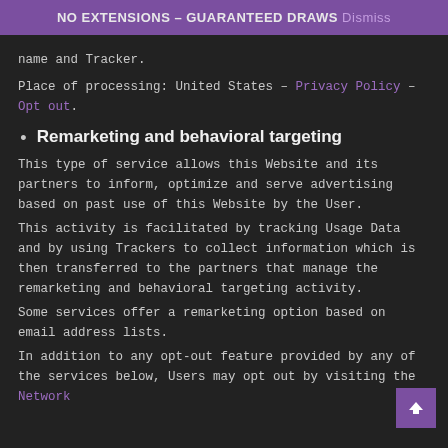NO EXTENSIONS – GUARANTEED DRAWS Dismiss
name and Tracker.
Place of processing: United States – Privacy Policy – Opt out.
Remarketing and behavioral targeting
This type of service allows this Website and its partners to inform, optimize and serve advertising based on past use of this Website by the User.
This activity is facilitated by tracking Usage Data and by using Trackers to collect information which is then transferred to the partners that manage the remarketing and behavioral targeting activity.
Some services offer a remarketing option based on email address lists.
In addition to any opt-out feature provided by any of the services below, Users may opt out by visiting the Network